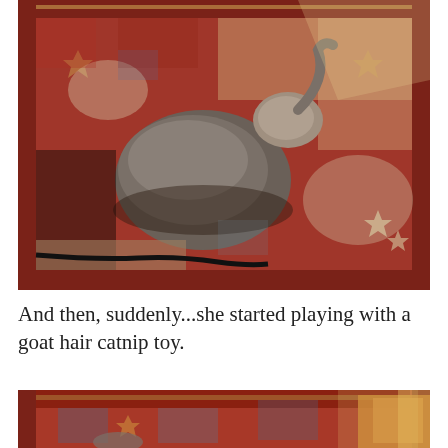[Figure (photo): A cat lying on a red patterned oriental rug in sunlight, photographed from above. The cat appears gray/brown and is sprawled on the rug. A black cable is visible in the lower left. Warm sunlight illuminates parts of the scene.]
And then, suddenly...she started playing with a goat hair catnip toy.
[Figure (photo): Partial view of a cat on the same red patterned oriental rug, with an orange/tan object (the goat hair catnip toy) visible. Only the top portion of this photo is shown.]